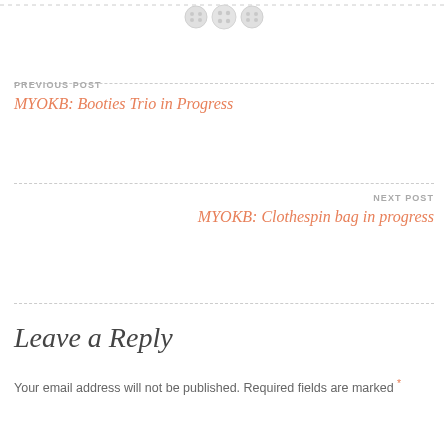[Figure (illustration): Three decorative button icons at the top of the page]
PREVIOUS POST
MYOKB: Booties Trio in Progress
NEXT POST
MYOKB: Clothespin bag in progress
Leave a Reply
Your email address will not be published. Required fields are marked *